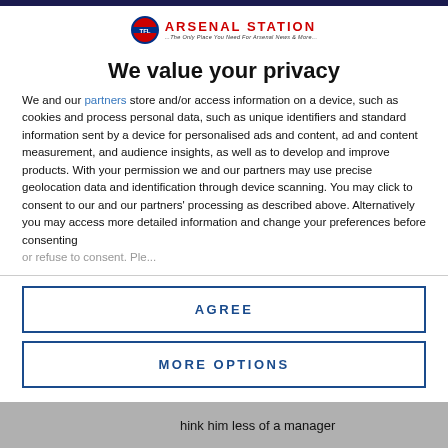[Figure (logo): Arsenal Station logo with roundel icon and red text ARSENAL STATION with italic tagline]
We value your privacy
We and our partners store and/or access information on a device, such as cookies and process personal data, such as unique identifiers and standard information sent by a device for personalised ads and content, ad and content measurement, and audience insights, as well as to develop and improve products. With your permission we and our partners may use precise geolocation data and identification through device scanning. You may click to consent to our and our partners' processing as described above. Alternatively you may access more detailed information and change your preferences before consenting
AGREE
MORE OPTIONS
hink him less of a manager